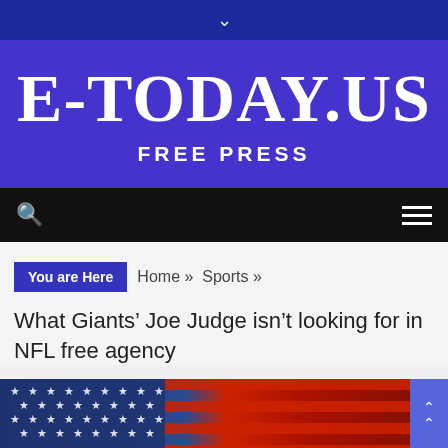▾
E-TODAY.US
FREE PRESS
🔍  ≡
You are Here  Home » Sports »
What Giants' Joe Judge isn't looking for in NFL free agency
[Figure (photo): American flag image, partially visible, with blue star field on left and red/white stripes on right]